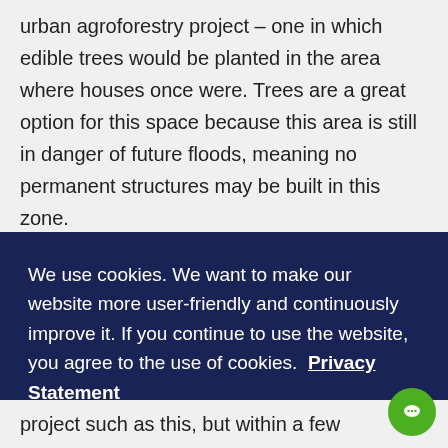urban agroforestry project – one in which edible trees would be planted in the area where houses once were. Trees are a great option for this space because this area is still in danger of future floods, meaning no permanent structures may be built in this zone.
We use cookies. We want to make our website more user-friendly and continuously improve it. If you continue to use the website, you agree to the use of cookies. Privacy Statement
Got it
project such as this, but within a few